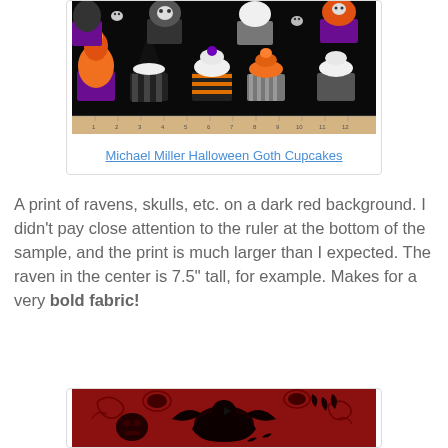[Figure (photo): Photo of Halloween Goth Cupcakes fabric showing cupcakes with Halloween decorations (skulls, witches hats) on a black background with a ruler at the bottom]
Michael Miller Halloween Goth Cupcakes
A print of ravens, skulls, etc. on a dark red background. I didn't pay close attention to the ruler at the bottom of the sample, and the print is much larger than I expected. The raven in the center is 7.5" tall, for example. Makes for a very bold fabric!
[Figure (photo): Photo of a dark red fabric with black silhouette prints of ravens, skulls, feathers, and ornate gothic decorations]